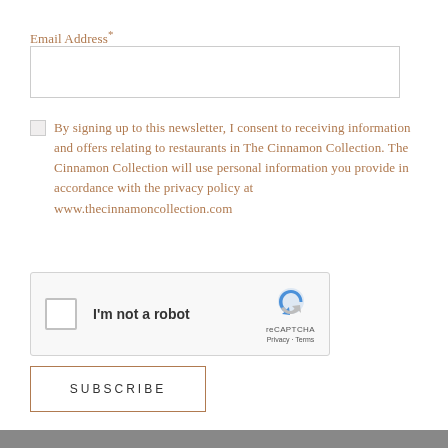Email Address*
By signing up to this newsletter, I consent to receiving information and offers relating to restaurants in The Cinnamon Collection. The Cinnamon Collection will use personal information you provide in accordance with the privacy policy at www.thecinnamoncollection.com
[Figure (screenshot): reCAPTCHA widget with checkbox labeled 'I'm not a robot' and reCAPTCHA logo with Privacy and Terms links]
SUBSCRIBE